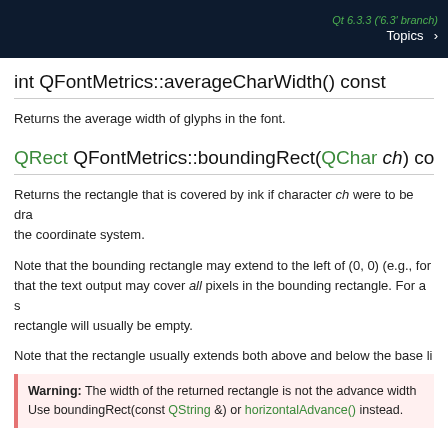Qt 6.3.3 ('6.3' branch)  Topics >
int QFontMetrics::averageCharWidth() const
Returns the average width of glyphs in the font.
QRect QFontMetrics::boundingRect(QChar ch) const
Returns the rectangle that is covered by ink if character ch were to be drawn in the coordinate system.
Note that the bounding rectangle may extend to the left of (0, 0) (e.g., for that the text output may cover all pixels in the bounding rectangle. For a s rectangle will usually be empty.
Note that the rectangle usually extends both above and below the base li
Warning: The width of the returned rectangle is not the advance width. Use boundingRect(const QString &) or horizontalAdvance() instead.